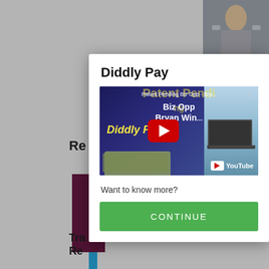[Figure (screenshot): Background webpage with blue sidebar and book cover]
[Figure (screenshot): Modal popup dialog for Diddly Pay with YouTube video thumbnail, Want to know more? text, and CONTINUE button]
Diddly Pay
[Figure (screenshot): YouTube video thumbnail: Patent Pending Biz Opp - Bry... / Biz Opp / Bryan Win... / Diddly Pa... with red play button and YouTube logo]
Want to know more?
CONTINUE